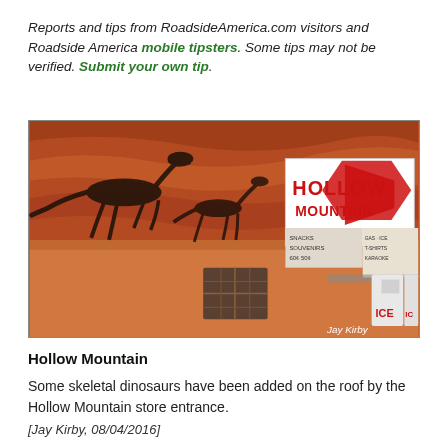Reports and tips from RoadsideAmerica.com visitors and Roadside America mobile tipsters. Some tips may not be verified. Submit your own tip.
[Figure (photo): Photograph of the Hollow Mountain store exterior showing skeletal dinosaur silhouettes painted on the red rock cliff above the roofline, with the 'Hollow Mountain' sign featuring a red arrow, and ICE vending machines visible. Photo credit: Jay Kirby.]
Hollow Mountain
Some skeletal dinosaurs have been added on the roof by the Hollow Mountain store entrance.
[Jay Kirby, 08/04/2016]